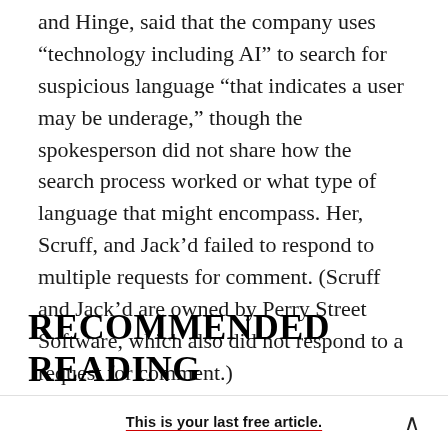and Hinge, said that the company uses “technology including AI” to search for suspicious language “that indicates a user may be underage,” though the spokesperson did not share how the search process worked or what type of language that might encompass. Her, Scruff, and Jack’d failed to respond to multiple requests for comment. (Scruff and Jack’d are owned by Perry Street Software, which also did not respond to a request for comment.)
RECOMMENDED READING
This is your last free article.